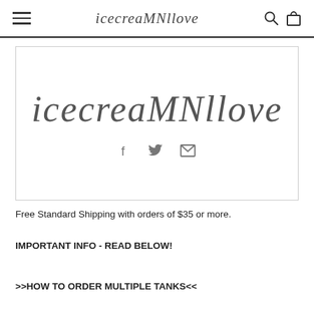icecreaMNllove — navigation header with hamburger menu, logo, search and cart icons
[Figure (logo): icecreaMNllove brand logo in script/handwritten font with social icons (Facebook, Twitter, Email) below, inside a bordered card]
Free Standard Shipping with orders of $35 or more.
IMPORTANT INFO - READ BELOW!
>>HOW TO ORDER MULTIPLE TANKS<<